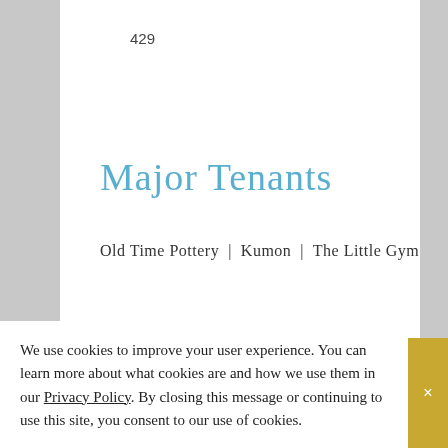429
Major Tenants
Old Time Pottery | Kumon | The Little Gym
[Figure (infographic): House/home icon representing Total SF metric]
126,374
TOTAL SF
[Figure (infographic): Grid/area icon representing Land Area metric]
14.76
LAND AREA
We use cookies to improve your user experience. You can learn more about what cookies are and how we use them in our Privacy Policy. By closing this message or continuing to use this site, you consent to our use of cookies.